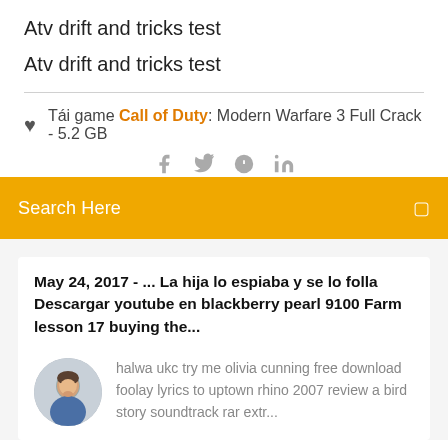Atv drift and tricks test
Atv drift and tricks test
Tái game Call of Duty: Modern Warfare 3 Full Crack - 5.2 GB
[Figure (screenshot): Orange search bar with text 'Search Here' and a search icon on the right]
May 24, 2017 - ... La hija lo espiaba y se lo folla Descargar youtube en blackberry pearl 9100 Farm lesson 17 buying the...
[Figure (photo): Circular avatar photo of a man]
halwa ukc try me olivia cunning free download foolay lyrics to uptown rhino 2007 review a bird story soundtrack rar extr...
Search Keyword